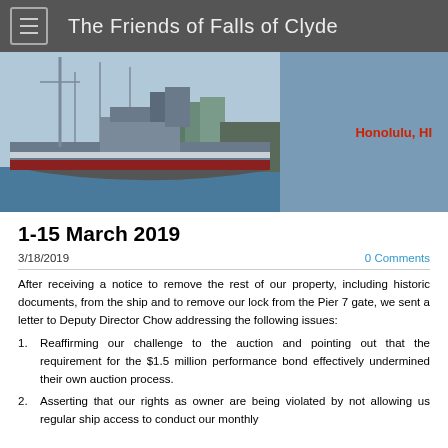The Friends of Falls of Clyde
[Figure (photo): Photograph of the Falls of Clyde ship docked at a pier, with industrial buildings and cranes visible in the background. Text overlay: Honolulu, HI]
1-15 March 2019
3/18/2019    0 Comments
After receiving a notice to remove the rest of our property, including historic documents, from the ship and to remove our lock from the Pier 7 gate, we sent a letter to Deputy Director Chow addressing the following issues:
Reaffirming our challenge to the auction and pointing out that the requirement for the $1.5 million performance bond effectively undermined their own auction process.
Asserting that our rights as owner are being violated by not allowing us regular ship access to conduct our monthly